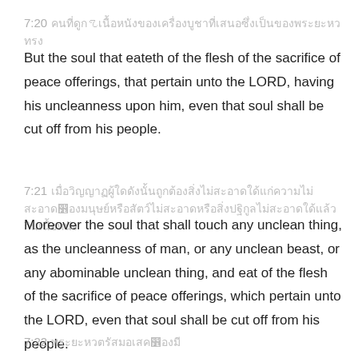7:20 [Thai script]
But the soul that eateth of the flesh of the sacrifice of peace offerings, that pertain unto the LORD, having his uncleanness upon him, even that soul shall be cut off from his people.
7:21 [Thai script]
Moreover the soul that shall touch any unclean thing, as the uncleanness of man, or any unclean beast, or any abominable unclean thing, and eat of the flesh of the sacrifice of peace offerings, which pertain unto the LORD, even that soul shall be cut off from his people.
7:22 [Thai script]